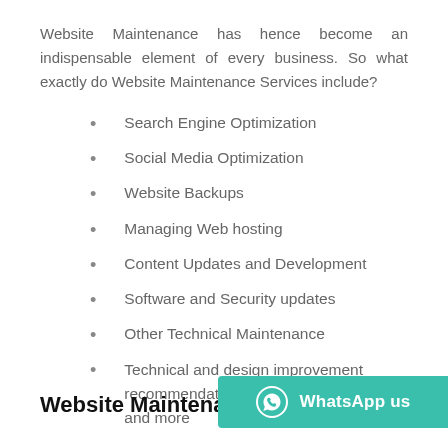Website Maintenance has hence become an indispensable element of every business. So what exactly do Website Maintenance Services include?
Search Engine Optimization
Social Media Optimization
Website Backups
Managing Web hosting
Content Updates and Development
Software and Security updates
Other Technical Maintenance
Technical and design improvement recommendations and more
Website Maintenance s
[Figure (other): WhatsApp us button — teal rounded button with WhatsApp icon and text 'WhatsApp us']